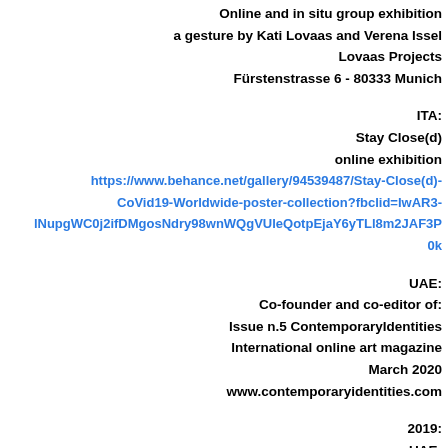Online and in situ group exhibition
a gesture by Kati Lovaas and Verena Issel
Lovaas Projects
Fürstenstrasse 6 - 80333 Munich
ITA:
Stay Close(d)
online exhibition
https://www.behance.net/gallery/94539487/Stay-Close(d)-CoVid19-Worldwide-poster-collection?fbclid=IwAR3-lNupgWC0j2ifDMgosNdry98wnWQgVUleQotpEjaY6yTLl8m2JAF3P0k
UAE:
Co-founder and co-editor of:
Issue n.5 ContemporaryIdentities
International online art magazine
March 2020
www.contemporaryidentities.com
2019:
UAE:
Imago Mundi, edition of the United Arab Emirates
the worldwide project and art collection of Luciano Benetton
"Amid desert and Future - Contemporary Artists from the
United Arab Emirates and Bahrain"